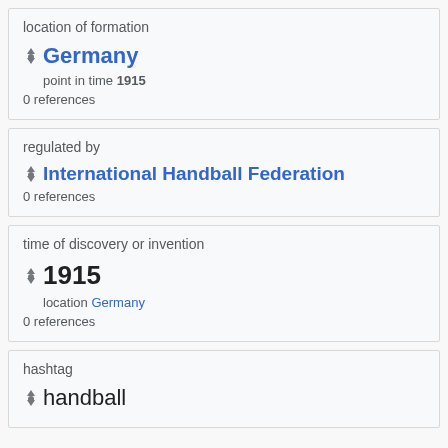location of formation
Germany
point in time 1915
0 references
regulated by
International Handball Federation
0 references
time of discovery or invention
1915
location Germany
0 references
hashtag
handball